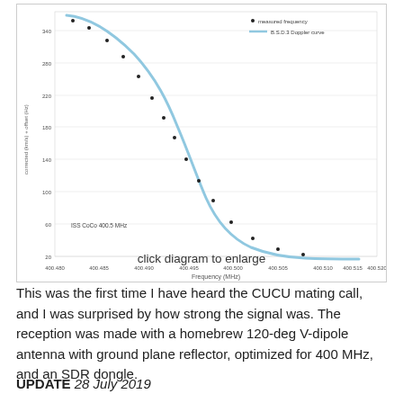[Figure (continuous-plot): A plot of measured frequency (black dots) vs. a B.S.D.3 Doppler curve (light blue line), showing a classic Doppler S-curve. X-axis: Frequency (MHz) ranging from ~400.480 to 400.520. Y-axis: unlabeled axis ranging from approximately 20 to 400. A label 'ISS CoCo 400.5 MHz' is visible inside the plot.]
click diagram to enlarge
This was the first time I have heard the CUCU mating call, and I was surprised by how strong the signal was. The reception was made with a homebrew 120-deg V-dipole antenna with ground plane reflector, optimized for 400 MHz, and an SDR dongle.
UPDATE 28 July 2019